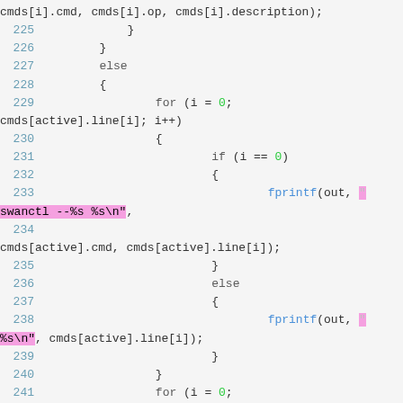Source code listing lines 225-243, C code with syntax highlighting showing fprintf, for loops, if/else statements with swanctl command construction.